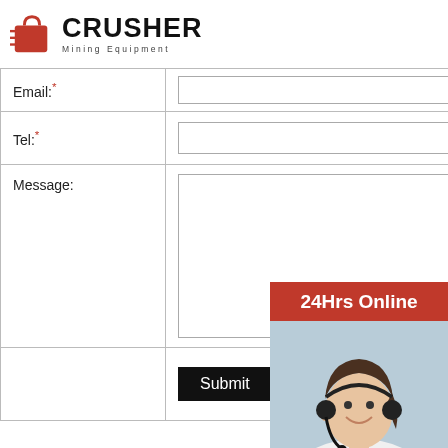[Figure (logo): Crusher Mining Equipment logo with red shopping bag icon and bold black CRUSHER text]
| Email:* |  |
| Tel:* |  |
| Message: |  |
|  | Submit |
[Figure (photo): 24Hrs Online banner with photo of woman wearing headset, customer service representative smiling]
Need questions & suggestion?
Chat Now
Enquiry
limingjlmofen@sina.com
JAW CRUSHER STONE MOBILE PLANT